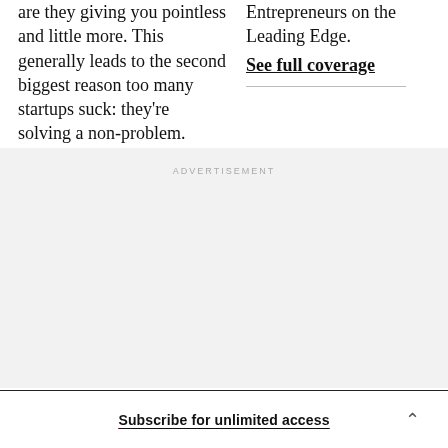are they giving you pointless and little more. This generally leads to the second biggest reason too many startups suck: they're solving a non-problem.
Entrepreneurs on the Leading Edge. See full coverage
ADVERTISEMENT
Subscribe for unlimited access